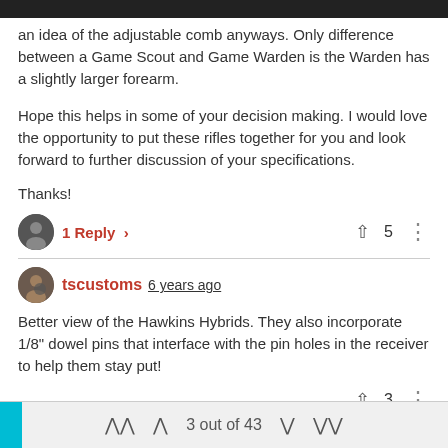an idea of the adjustable comb anyways. Only difference between a Game Scout and Game Warden is the Warden has a slightly larger forearm.
Hope this helps in some of your decision making. I would love the opportunity to put these rifles together for you and look forward to further discussion of your specifications.
Thanks!
1 Reply  ▲ 5
tscustoms 6 years ago
Better view of the Hawkins Hybrids. They also incorporate 1/8" dowel pins that interface with the pin holes in the receiver to help them stay put!
▲ 3
3 out of 43